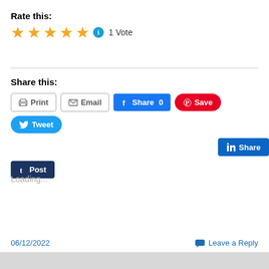Rate this:
[Figure (other): Five gold stars rating with info icon and '1 Vote' text]
Share this:
[Figure (infographic): Social share buttons: Print, Email, Share 0 (Facebook), Save (Pinterest), Tweet (Twitter), Share (LinkedIn), Post (Tumblr)]
Loading...
06/12/2022
Leave a Reply